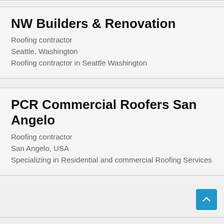NW Builders & Renovation
Roofing contractor
Seattle, Washington
Roofing contractor in Seattle Washington
PCR Commercial Roofers San Angelo
Roofing contractor
San Angelo, USA
Specializing in Residential and commercial Roofing Services